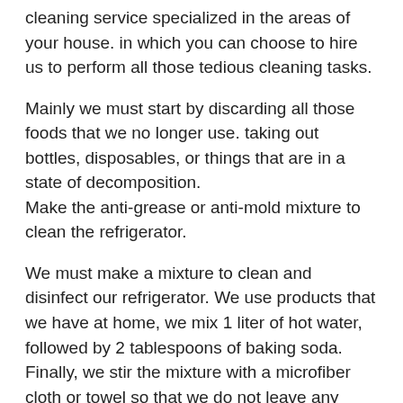cleaning service specialized in the areas of your house. in which you can choose to hire us to perform all those tedious cleaning tasks.
Mainly we must start by discarding all those foods that we no longer use. taking out bottles, disposables, or things that are in a state of decomposition. Make the anti-grease or anti-mold mixture to clean the refrigerator.
We must make a mixture to clean and disinfect our refrigerator. We use products that we have at home, we mix 1 liter of hot water, followed by 2 tablespoons of baking soda. Finally, we stir the mixture with a microfiber cloth or towel so that we do not leave any wool residue.
Later for this cleaning, we must start by cleaning the inside of the refrigerator doors. We remove the